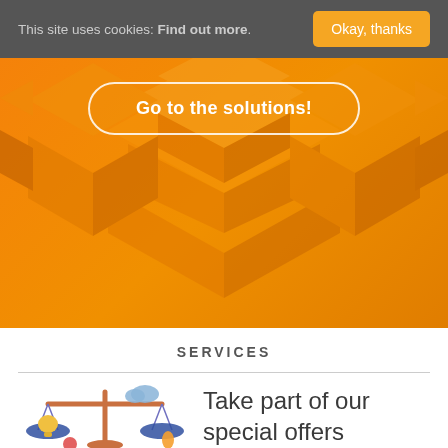This site uses cookies: Find out more. Okay, thanks
[Figure (screenshot): Orange hero banner with isometric 3D puzzle/building blocks illustration and a 'Go to the solutions!' button with white rounded border]
SERVICES
[Figure (illustration): Colorful illustration of a balance scale with a lightbulb on one side, with blue, orange, and red decorative shapes]
Take part of our special offers